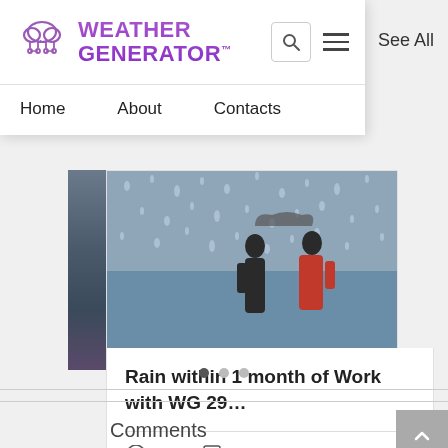[Figure (screenshot): Weather Generator app navigation overlay showing logo with cloud icon, search and hamburger menu icons, and nav links: Home, About, Contacts]
See All
[Figure (photo): Rain-speckled glass window with people walking outside in rain, one in red jacket]
Rain within 1 month of Work with WG 29…
144  0
Comments